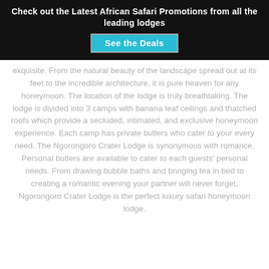Check out the Latest African Safari Promotions from all the leading lodges
See the Deals
exquisite. From the natural beauty of the landscape spread out at its feet to the incredible architecture, it is pure heaven for any honeymoon. The location of the lodge is truly breathtaking. The lodge is divided into 3 camps with banana leaf ceilings and thatched roofs which provide a secluded, intimated, and exclusive honeymoon experience. Each camp has private butlers who cater to your every need. The Ngorongoro Crater Lodge is synonymous with romance. Personal butlers are available to cater to each guests' personal needs. From drawing bubble baths and bringing tea in bed to creating a romantic evening your partner will never forget, Ngorongoro Crater Lodge is the perfect luxury safari honeymoon lodge.